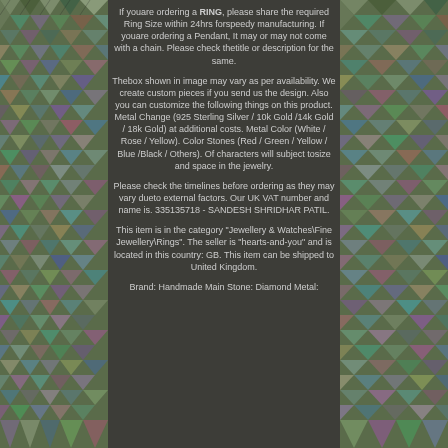If youare ordering a RING, please share the required Ring Size within 24hrs forspeedy manufacturing. If youare ordering a Pendant, It may or may not come with a chain. Please check thetitle or description for the same.
Thebox shown in image may vary as per availability. We create custom pieces if you send us the design. Also you can customize the following things on this product. Metal Change (925 Sterling Silver / 10k Gold /14k Gold / 18k Gold) at additional costs. Metal Color (White / Rose / Yellow). Color Stones (Red / Green / Yellow / Blue /Black / Others). Of characters will subject tosize and space in the jewelry.
Please check the timelines before ordering as they may vary dueto external factors. Our UK VAT number and name is. 335135718 - SANDESH SHRIDHAR PATIL.
This item is in the category "Jewellery & Watches\Fine Jewellery\Rings". The seller is "hearts-and-you" and is located in this country: GB. This item can be shipped to United Kingdom.
Brand: Handmade Main Stone: Diamond Metal: Sterling Silver Metal Purity: 925 Ring Size: ...